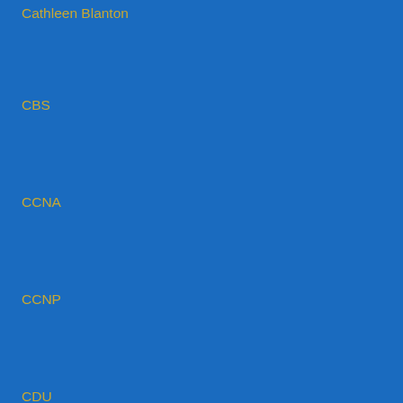Cathleen Blanton
CBS
CCNA
CCNP
CDU
CEH
Center of Excellence
Central Virginia Chapter of the Project Management Institute
certifications remain a valuable tool for advancing one's career
Certified Cloud Security Professional (CCSP)